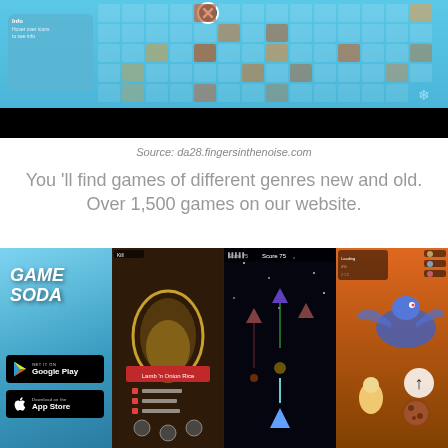[Figure (screenshot): Screenshot of a browser game showing a grid of item icons with a blue background. An info panel on the left reads 'Hover over icons to see info'. A close (X) button is visible at the top center. Below the grid is a black bar.]
Source: da28.fingersinthenoise.com
You 'll find games of different genres new and old. Over 1,500 games on our website.
[Figure (screenshot): Collage of four mobile game screenshots: Game Soda (a colorful casual game with Google Play and App Store download buttons), an RPG game with a golden arch portal, a space shooter game, and a battle/action game with a dragon character. At the bottom a banner reads 'TOP 10 BEST OLE GAMES' with an X button icon in 'BEST'.]